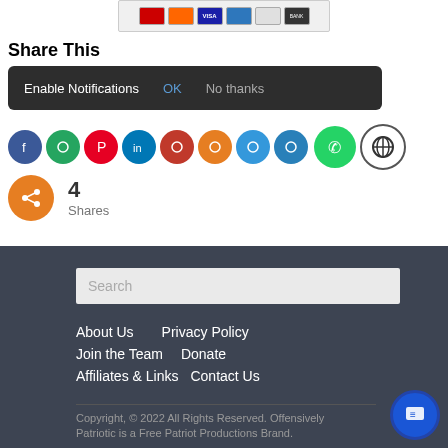[Figure (screenshot): Payment card icons row: Mastercard, Mastercard, Visa, Amex, Discover, Bank]
Share This
Enable Notifications  OK  No thanks
[Figure (screenshot): Row of social share icon circles: Facebook, Twitter/messenger, Pinterest, LinkedIn, Reddit, Orange share, Light blue, Dark blue, WhatsApp green circle, WordPress circle]
4
Shares
Search
About Us    Privacy Policy
Join the Team    Donate
Affiliates & Links    Contact Us
Copyright, © 2022 All Rights Reserved. Offensively Patriotic is a Free Patriot Productions Brand.